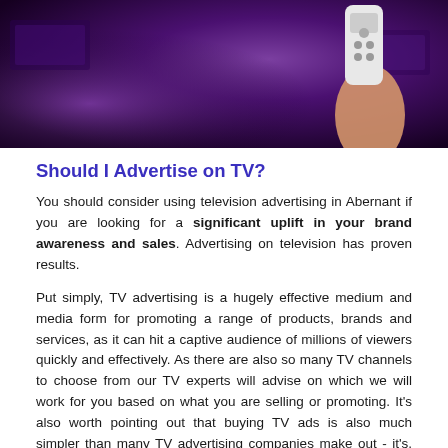[Figure (photo): Photo of a hand holding a TV remote control against a dark purple/violet blurred background with TV screens visible]
Should I Advertise on TV?
You should consider using television advertising in Abernant if you are looking for a significant uplift in your brand awareness and sales. Advertising on television has proven results.
Put simply, TV advertising is a hugely effective medium and media form for promoting a range of products, brands and services, as it can hit a captive audience of millions of viewers quickly and effectively. As there are also so many TV channels to choose from our TV experts will advise on which we will work for you based on what you are selling or promoting. It's also worth pointing out that buying TV ads is also much simpler than many TV advertising companies make out - it's, therefore, more of a possibility and less of a hassle than you probably imagine.
With PromoMEDIA by your side, we will put you in contact with the top buyer suitable for your enquiry, who can guide you through